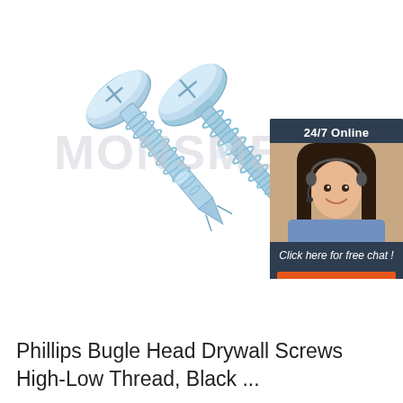[Figure (photo): Two zinc-plated self-drilling screws with bugle/pan heads and high-low threads, shown at an angle on a white background. A semi-transparent watermark reads MONSME (partially visible). An inset chat widget on the right shows a customer service representative wearing a headset with text '24/7 Online', 'Click here for free chat!', and an orange 'QUOTATION' button.]
Phillips Bugle Head Drywall Screws High-Low Thread, Black ...